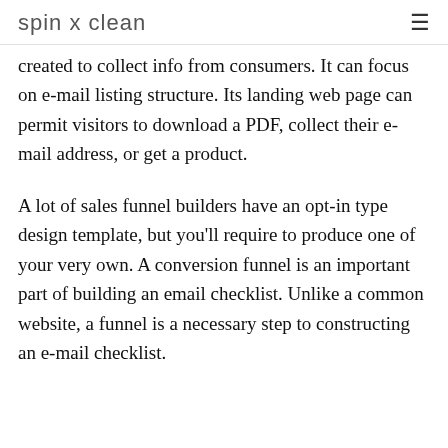spin x clean
created to collect info from consumers. It can focus on e-mail listing structure. Its landing web page can permit visitors to download a PDF, collect their e-mail address, or get a product.
A lot of sales funnel builders have an opt-in type design template, but you'll require to produce one of your very own. A conversion funnel is an important part of building an email checklist. Unlike a common website, a funnel is a necessary step to constructing an e-mail checklist.